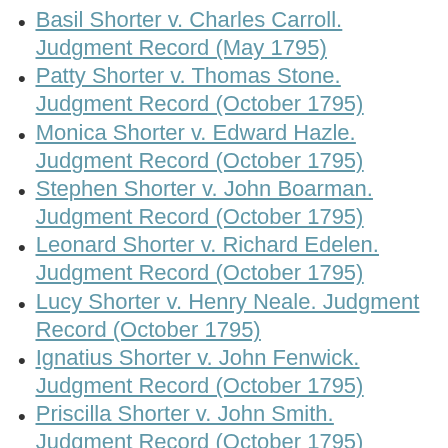Basil Shorter v. Charles Carroll. Judgment Record (May 1795)
Patty Shorter v. Thomas Stone. Judgment Record (October 1795)
Monica Shorter v. Edward Hazle. Judgment Record (October 1795)
Stephen Shorter v. John Boarman. Judgment Record (October 1795)
Leonard Shorter v. Richard Edelen. Judgment Record (October 1795)
Lucy Shorter v. Henry Neale. Judgment Record (October 1795)
Ignatius Shorter v. John Fenwick. Judgment Record (October 1795)
Priscilla Shorter v. John Smith. Judgment Record (October 1795)
Gerard Shorter v. Mary Boarman. Judgment Record (October 1795)